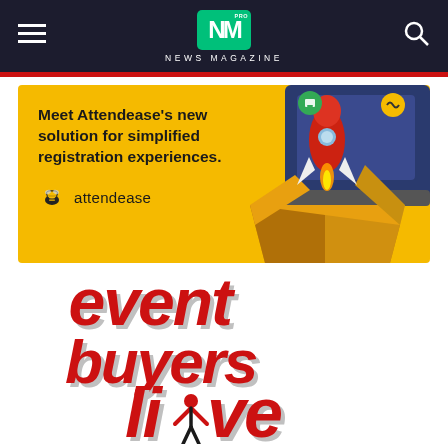NM PRO NEWS MAGAZINE
[Figure (illustration): Attendease advertisement banner with yellow background showing rocket launching from a laptop box. Text reads: Meet Attendease's new solution for simplified registration experiences. attendease]
[Figure (logo): Event Buyers Live logo with red and grey layered bold italic text reading 'event buyers live' with a person/figure icon integrated into the letter i in 'live']